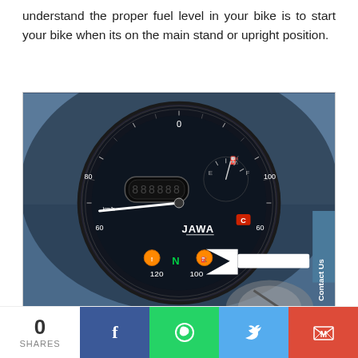understand the proper fuel level in your bike is to start your bike when its on the main stand or upright position.
[Figure (photo): Close-up photo of a JAWA motorcycle speedometer/instrument cluster with a white arrow annotation pointing to the fuel gauge indicator on the right side of the dial. The speedometer shows speed markings and various indicator lights including N (neutral), and other warning lights.]
0 SHARES